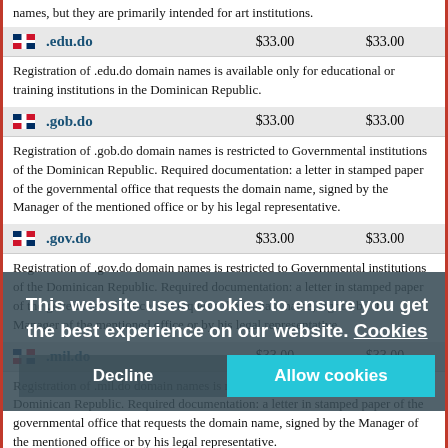names, but they are primarily intended for art institutions.
| .edu.do | $33.00 | $33.00 |
| --- | --- | --- |
| Registration of .edu.do domain names is available only for educational or training institutions in the Dominican Republic. |  |  |
| .gob.do | $33.00 | $33.00 |
| --- | --- | --- |
| Registration of .gob.do domain names is restricted to Governmental institutions of the Dominican Republic. Required documentation: a letter in stamped paper of the governmental office that requests the domain name, signed by the Manager of the mentioned office or by his legal representative. |  |  |
| .gov.do | $33.00 | $33.00 |
| --- | --- | --- |
| Registration of .gov.do domain names is restricted to Governmental institutions of the Dominican Republic. Required documentation: a letter in stamped paper of the governmental office that requests the domain name, signed by the Manager of the mentioned office or by his legal representative. |  |  |
| .mil.do | $33.00 | $33.00 |
| --- | --- | --- |
| Registration of .mil.do domain names is restricted to Military institutions of the Dominican Republic. Required documentation: a letter in stamped paper of the governmental office that requests the domain name, signed by the Manager of the mentioned office or by his legal representative. |  |  |
| .net.do | $33.00 | $33.00 |
| --- | --- | --- |
| Currently there are no restrictions on registering .net.do domain names. |  |  |
| .org.do | $33.00 | $33.00 |
| --- | --- | --- |